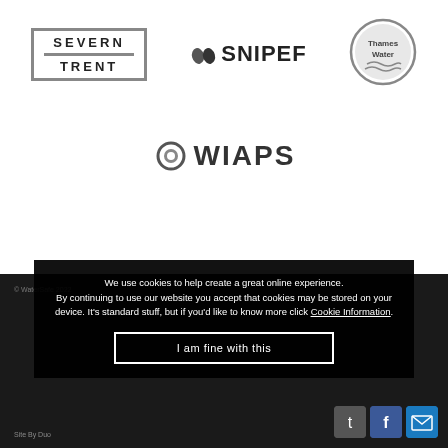[Figure (logo): Severn Trent logo — bold sans-serif text in two lines 'SEVERN' and 'TRENT' enclosed in a rectangular border]
[Figure (logo): SNIPEF logo — two water droplet icons followed by bold text 'SNIPEF']
[Figure (logo): Thames Water circular logo with 'Thames Water' text and wave motif]
[Figure (logo): WIAPS logo — circular icon resembling a water droplet/ring followed by bold text 'WIAPS']
We use cookies to help create a great online experience. By continuing to use our website you accept that cookies may be stored on your device. It's standard stuff, but if you'd like to know more click Cookie Information.
I am fine with this
© WaterSafe 2022   Site By Duo   TOP